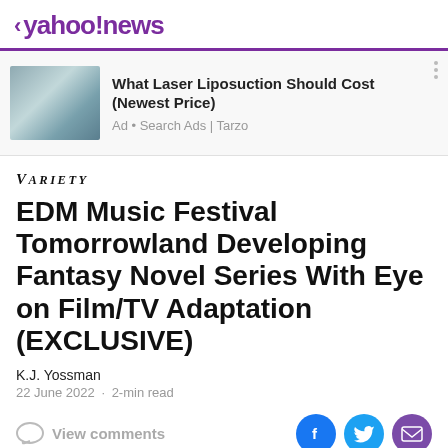< yahoo!news
[Figure (screenshot): Ad banner: image of laser liposuction equipment on left, ad text on right]
What Laser Liposuction Should Cost (Newest Price)
Ad • Search Ads | Tarzo
[Figure (logo): VARIETY logo in italic serif font]
EDM Music Festival Tomorrowland Developing Fantasy Novel Series With Eye on Film/TV Adaptation (EXCLUSIVE)
K.J. Yossman
22 June 2022 · 2-min read
View comments